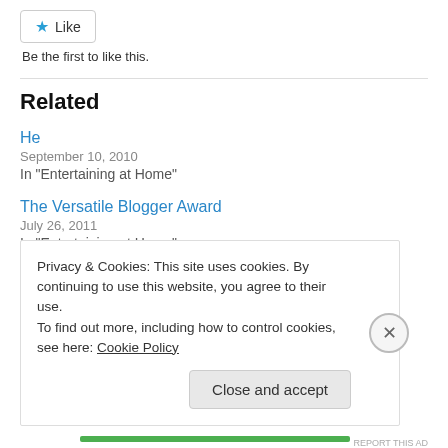[Figure (other): Like button with star icon]
Be the first to like this.
Related
He
September 10, 2010
In "Entertaining at Home"
The Versatile Blogger Award
July 26, 2011
In "Entertaining at Home"
Privacy & Cookies: This site uses cookies. By continuing to use this website, you agree to their use.
To find out more, including how to control cookies, see here: Cookie Policy
Close and accept